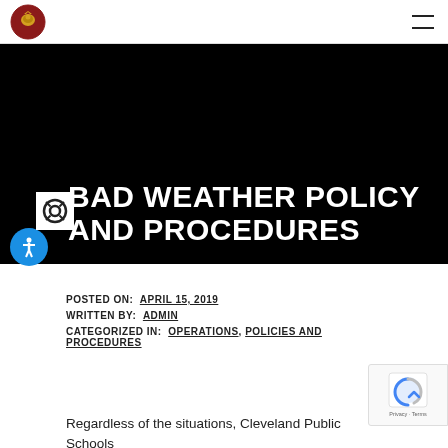Cleveland Public Schools - navigation header with logo and hamburger menu
BAD WEATHER POLICY AND PROCEDURES
POSTED ON: April 15, 2019
WRITTEN BY: admin
CATEGORIZED IN: Operations, Policies and Procedures
Regardless of the situations, Cleveland Public Schools